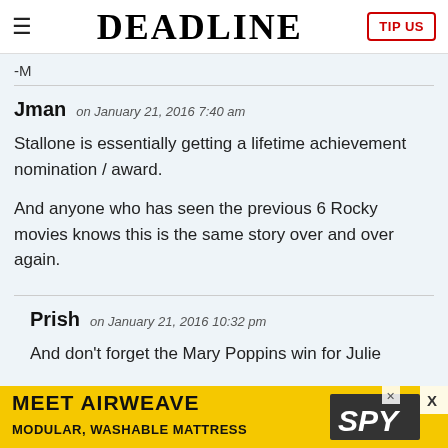DEADLINE | TIP US
-M
Jman on January 21, 2016 7:40 am

Stallone is essentially getting a lifetime achievement nomination / award.

And anyone who has seen the previous 6 Rocky movies knows this is the same story over and over again.
Prish on January 21, 2016 10:32 pm

And don't forget the Mary Poppins win for Julie
[Figure (infographic): Advertisement banner: MEET AIRWEAVE - MODULAR, WASHABLE MATTRESS with SPY logo on yellow background]